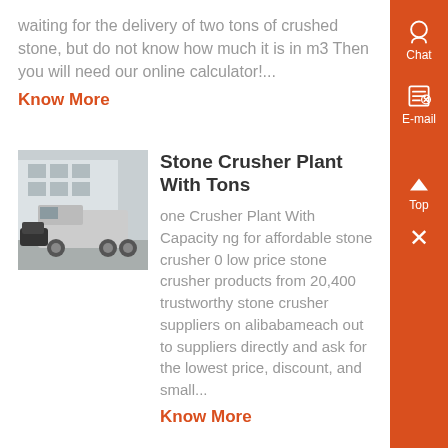waiting for the delivery of two tons of crushed stone, but do not know how much it is in m3 Then you will need our online calculator!...
Know More
[Figure (photo): Stone crusher plant vehicle/truck parked in an industrial area with a large building in the background.]
Stone Crusher Plant With Tons
one Crusher Plant With Capacity ng for affordable stone crusher 0 low price stone crusher products from 20,400 trustworthy stone crusher suppliers on alibabameach out to suppliers directly and ask for the lowest price, discount, and small...
Know More